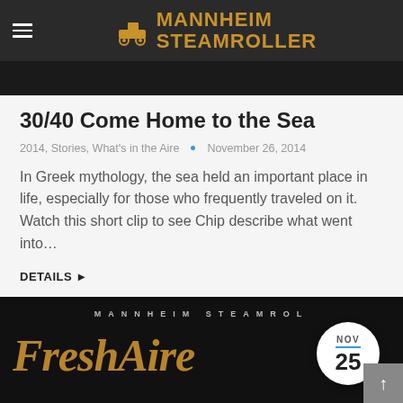MANNHEIM STEAMROLLER
[Figure (screenshot): Dark image strip partially visible at top below header]
30/40 Come Home to the Sea
2014, Stories, What's in the Aire • November 26, 2014
In Greek mythology, the sea held an important place in life, especially for those who frequently traveled on it. Watch this short clip to see Chip describe what went into...
Details ▶
[Figure (screenshot): Mannheim Steamroller Fresh Aire album cover bottom section with NOV 25 calendar badge]